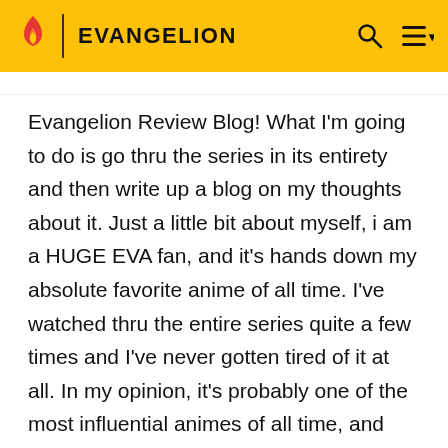EVANGELION
Evangelion Review Blog! What I'm going to do is go thru the series in its entirety and then write up a blog on my thoughts about it. Just a little bit about myself, i am a HUGE EVA fan, and it's hands down my absolute favorite anime of all time. I've watched thru the entire series quite a few times and I've never gotten tired of it at all. In my opinion, it's probably one of the most influential animes of all time, and more particularly, the most influential mecha anime of the 1990s. The sleek design of the EVAs was a clean break from the more boxy design of the mecha of the 70s and 80s, while the storyline stood out from most anime entirely, as the story of NGE was not only a good traditiona…